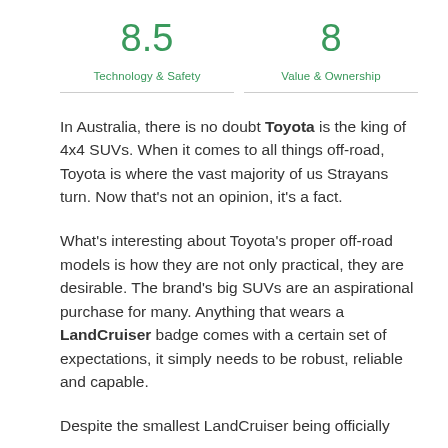8.5
Technology & Safety
8
Value & Ownership
In Australia, there is no doubt Toyota is the king of 4x4 SUVs. When it comes to all things off-road, Toyota is where the vast majority of us Strayans turn. Now that’s not an opinion, it’s a fact.
What’s interesting about Toyota’s proper off-road models is how they are not only practical, they are desirable. The brand’s big SUVs are an aspirational purchase for many. Anything that wears a LandCruiser badge comes with a certain set of expectations, it simply needs to be robust, reliable and capable.
Despite the smallest LandCruiser being officially